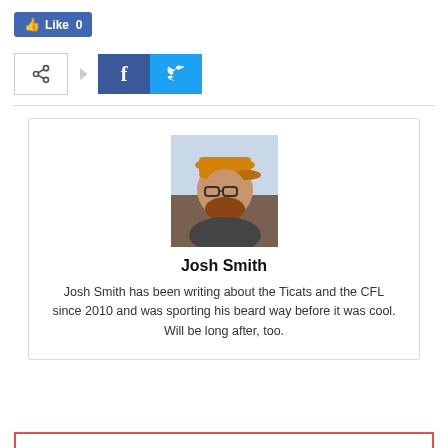[Figure (screenshot): Facebook Like button showing 'Like 0' in blue]
[Figure (screenshot): Social sharing buttons: share icon box, arrow, Facebook (f) button, Twitter bird button]
[Figure (photo): Author photo of Josh Smith wearing an orange/yellow baseball cap and glasses]
Josh Smith
Josh Smith has been writing about the Ticats and the CFL since 2010 and was sporting his beard way before it was cool. Will be long after, too.